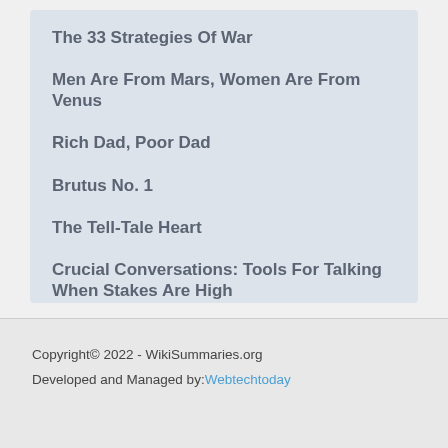The 33 Strategies Of War
Men Are From Mars, Women Are From Venus
Rich Dad, Poor Dad
Brutus No. 1
The Tell-Tale Heart
Crucial Conversations: Tools For Talking When Stakes Are High
Copyright© 2022 - WikiSummaries.org
Developed and Managed by: Webtechtoday